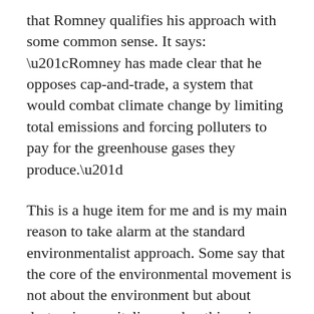that Romney qualifies his approach with some common sense. It says:
“Romney has made clear that he opposes cap-and-trade, a system that would combat climate change by limiting total emissions and forcing polluters to pay for the greenhouse gases they produce.”

This is a huge item for me and is my main reason to take alarm at the standard environmentalist approach. Some say that the core of the environmental movement is not about the environment but about destroying capitalism and nothing gives evidence to this more than the insane cap